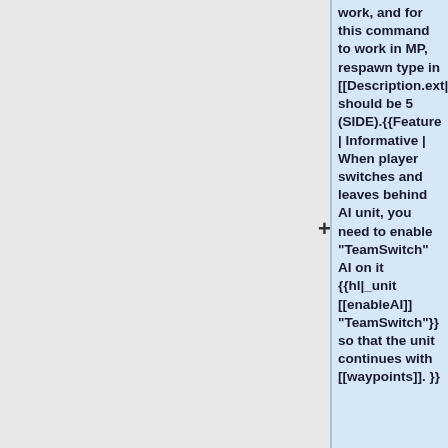work, and for this command to work in MP, respawn type in [[Description.ext|description.ext]] should be 5 (SIDE).{{Feature | Informative | When player switches and leaves behind AI unit, you need to enable "TeamSwitch" AI on it {{hl|_unit [[enableAI]] "TeamSwitch"}} so that the unit continues with [[waypoints]]. }}